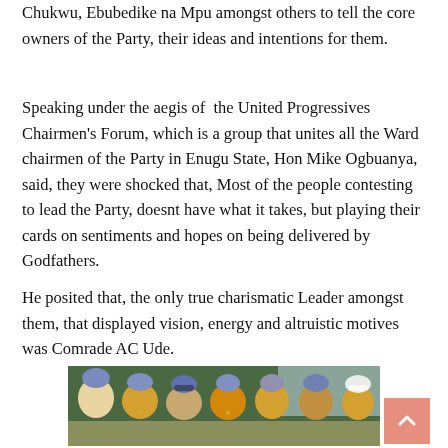Chukwu, Ebubedike na Mpu amongst others to tell the core owners of the Party, their ideas and intentions for them.
Speaking under the aegis of the United Progressives Chairmen's Forum, which is a group that unites all the Ward chairmen of the Party in Enugu State, Hon Mike Ogbuanya, said, they were shocked that, Most of the people contesting to lead the Party, doesnt have what it takes, but playing their cards on sentiments and hopes on being delivered by Godfathers.
He posited that, the only true charismatic Leader amongst them, that displayed vision, energy and altruistic motives was Comrade AC Ude.
[Figure (photo): Group photo of several women in traditional Nigerian attire with colorful headwraps, seated outdoors.]